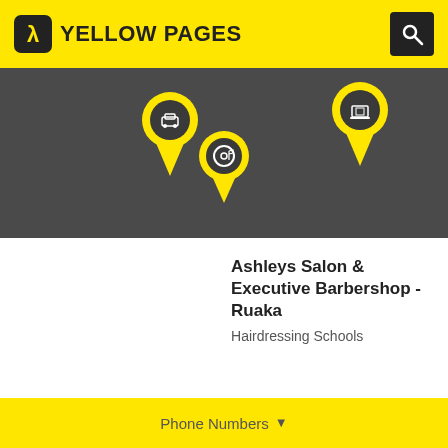YELLOW PAGES
[Figure (illustration): Yellow Pages promotional banner with dark city skyline background and three yellow map pin location markers connected by a dashed yellow path. Left pin has a car icon, center pin has a music/DJ icon, right pin has a cake/birthday icon. The background is dark grey with a white line art city skyline.]
Ashleys Salon & Executive Barbershop - Ruaka
Hairdressing Schools
Phone Numbers ▼